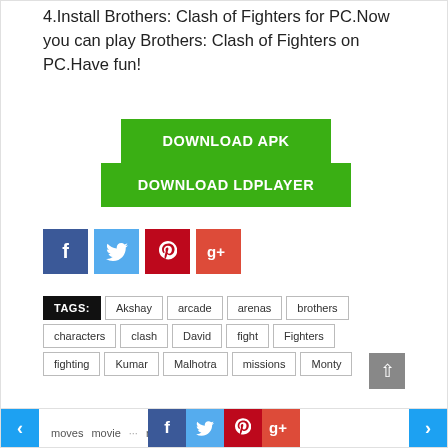4.Install Brothers: Clash of Fighters for PC.Now you can play Brothers: Clash of Fighters on PC.Have fun!
[Figure (other): Green DOWNLOAD APK button]
[Figure (other): Green DOWNLOAD LDPLAYER button]
[Figure (other): Social share icons: Facebook, Twitter, Pinterest, Google+]
TAGS: Akshay arcade arenas brothers characters clash David fight Fighters fighting Kumar Malhotra missions Monty
< moves movie ... > (with social share icons)